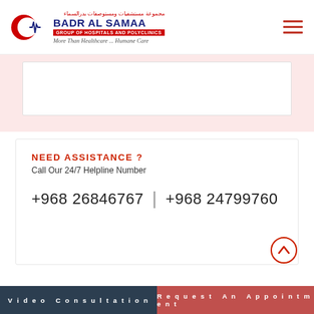[Figure (logo): Badr Al Samaa Group of Hospitals and Polyclinics logo with red crescent and ECG line, Arabic text, and tagline 'More Than Healthcare...Humane Care']
NEED ASSISTANCE ?
Call Our 24/7 Helpline Number
+968 26846767 | +968 24799760
Video Consultation
Request An Appointment